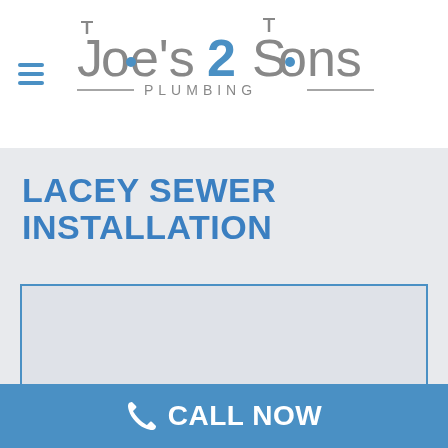[Figure (logo): Joe's 2 Sons Plumbing logo with stylized text and plumbing pipe decorations above letters, 'PLUMBING' subtitle with horizontal lines]
LACEY SEWER INSTALLATION
[Figure (photo): Placeholder image box with blue border]
CALL NOW